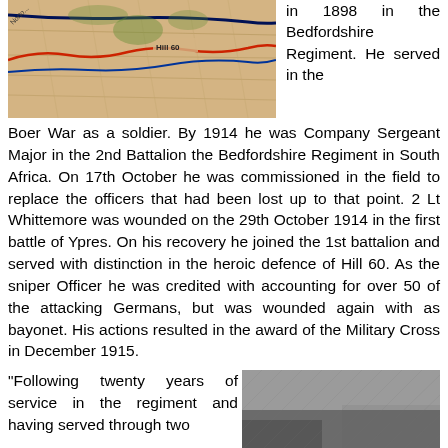[Figure (map): Military map showing Hill 60 and surrounding area with red and blue markings indicating troop positions and battle lines.]
in 1898 in the Bedfordshire Regiment. He served in the Boer War as a soldier. By 1914 he was Company Sergeant Major in the 2nd Battalion the Bedfordshire Regiment in South Africa. On 17th October he was commissioned in the field to replace the officers that had been lost up to that point. 2 Lt Whittemore was wounded on the 29th October 1914 in the first battle of Ypres. On his recovery he joined the 1st battalion and served with distinction in the heroic defence of Hill 60. As the sniper Officer he was credited with accounting for over 50 of the attacking Germans, but was wounded again with as bayonet. His actions resulted in the award of the Military Cross in December 1915.
"Following twenty years of service in the regiment and having served through two
[Figure (photo): Black and white historical photograph showing military scene.]